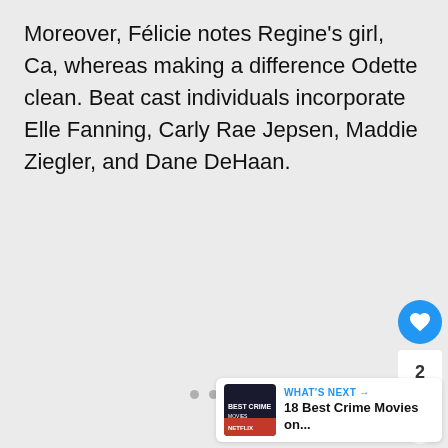Moreover, Félicie notes Regine's girl, Ca, whereas making a difference Odette clean. Beat cast individuals incorporate Elle Fanning, Carly Rae Jepsen, Maddie Ziegler, and Dane DeHaan.
[Figure (infographic): Like/heart button (blue circle with heart icon), count '2', share button, three dots pagination indicator, and 'What's Next' panel showing '18 Best Crime Movies on...' with thumbnail]